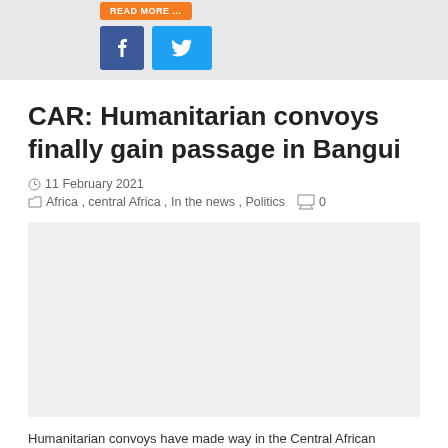[Figure (other): Orange button (Read more) and social share icons for Facebook and Twitter]
CAR: Humanitarian convoys finally gain passage in Bangui
11 February 2021
Africa, central Africa, In the news, Politics  0
Humanitarian convoys have made way in the Central African Republic's capital Bangui after rebel groups losing ground to pro-government forces temporarily allowed passage. The Coalition of Patriots for Change